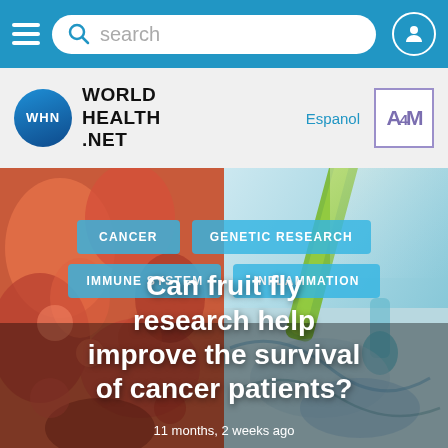search
[Figure (logo): World Health Net logo with globe icon and WHN text]
Espanol
[Figure (logo): A4M badge/logo]
[Figure (photo): Background photo: microscopic view of tissue/cells (left, pink/red) and laboratory equipment/pipette (right, green/teal)]
CANCER
GENETIC RESEARCH
IMMUNE SYSTEM
INFLAMMATION
Can fruit fly research help improve the survival of cancer patients?
11 months, 2 weeks ago